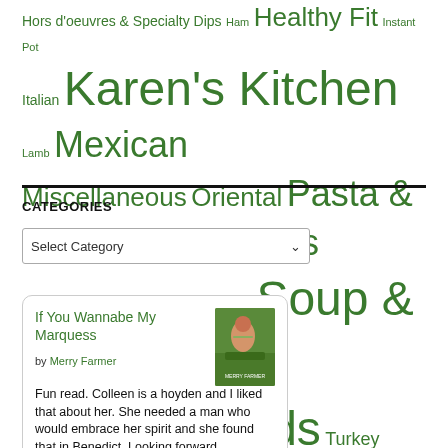Hors d'oeuvres & Specialty Dips Ham Healthy Fit Instant Pot Italian Karen's Kitchen Lamb Mexican Miscellaneous Oriental Pasta & Rice Pets Pork Salads Sandwiches Snacks Soup & Chili Spices Sweet Breads Turkey Vegetables
CATEGORIES
[Figure (other): Select Category dropdown input]
[Figure (other): Book card for 'If You Wannabe My Marquess' by Merry Farmer with book cover image and review text]
If You Wannabe My Marquess
by Merry Farmer
Fun read. Colleen is a hoyden and I liked that about her. She needed a man who would embrace her spirit and she found that in Benedict. Looking forward